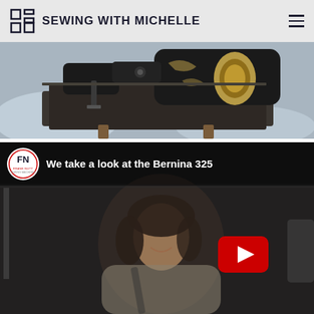SEWING WITH MICHELLE
[Figure (photo): Close-up photo of a vintage black sewing machine on a table with blue fabric in the background]
[Figure (screenshot): YouTube video embed showing a woman smiling with Frank Nutt Sewing Machines logo and title 'We take a look at the Bernina 325' with YouTube play button overlay]